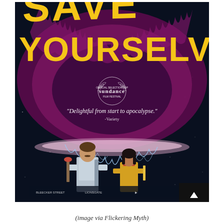[Figure (photo): Movie poster for 'Save Yourselves!' showing bold yellow text at top reading 'SAVE YOURSELVES!', a large furry alien creature in the middle against a dark starry sky, a Sundance Film Festival laurel logo, a quote 'Delightful from start to apocalypse.' - Variety, and two actors (a young man and woman) standing at the bottom center.]
(image via Flickering Myth)